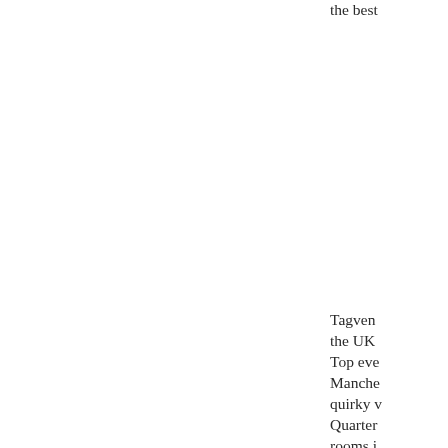the best
Tagven the UK Top eve Manche quirky Quarter rooms i Street t in Spin a view comes t Manche spots,